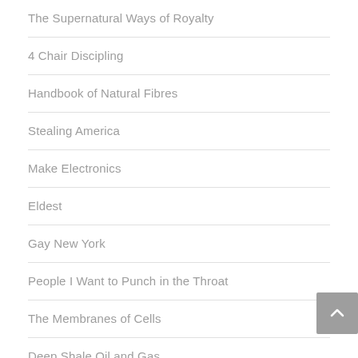The Supernatural Ways of Royalty
4 Chair Discipling
Handbook of Natural Fibres
Stealing America
Make Electronics
Eldest
Gay New York
People I Want to Punch in the Throat
The Membranes of Cells
Deep Shale Oil and Gas
A Night Divided
All Who Go Do Not Return